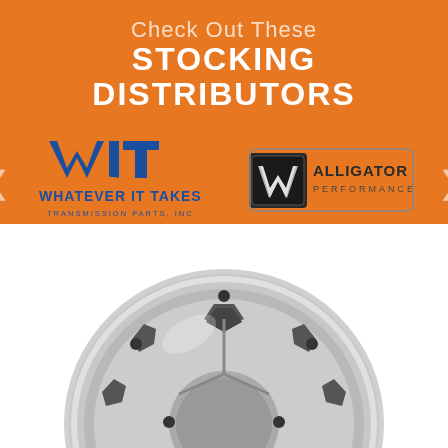Check Out These STOCKING DISTRIBUTORS
[Figure (logo): Whatever It Takes Transmission Parts, Inc. (WIT) logo — blue stylized WIT letters with tagline]
[Figure (logo): Alligator Performance logo — dark badge with stylized W and ALLIGATOR PERFORMANCE text]
[Figure (photo): Close-up photo of a silver/chrome transmission torque converter or clutch disk viewed from the front, on white background]